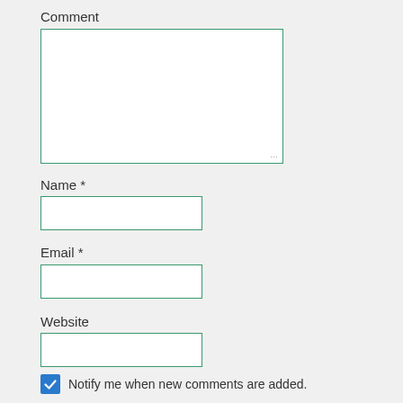Comment
[Figure (screenshot): Comment textarea field with green border]
Name *
[Figure (screenshot): Name input field with green border]
Email *
[Figure (screenshot): Email input field with green border]
Website
[Figure (screenshot): Website input field with green border]
[Figure (screenshot): Checked blue checkbox]
Notify me when new comments are added.